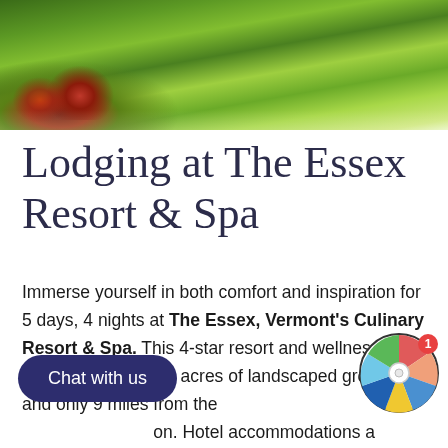[Figure (photo): Landscaped garden with green lawn, colorful flowering shrubs and plants in foreground, bright green grass in background]
Lodging at The Essex Resort & Spa
Immerse yourself in both comfort and inspiration for 5 days, 4 nights at The Essex, Vermont's Culinary Resort & Spa. This 4-star resort and wellness spa is surrounded by 18 acres of landscaped grounds and only 9 miles from the [airport]. Hotel accommodations are included in your full tuition payment.
[Figure (other): Dark navy blue 'Chat with us' button overlay and a colorful spinning wheel widget with red badge showing number 1]